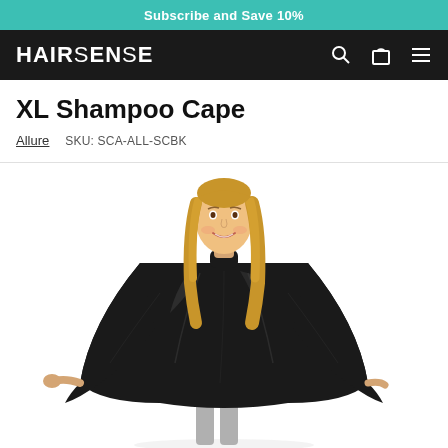Subscribe and Save 10%
[Figure (logo): HAIRSENSE logo in white text on black navigation bar with search, cart, and menu icons]
XL Shampoo Cape
Allure   SKU: SCA-ALL-SCBK
[Figure (photo): Woman wearing a large black shampoo cape, smiling, with arms slightly outstretched, on white background]